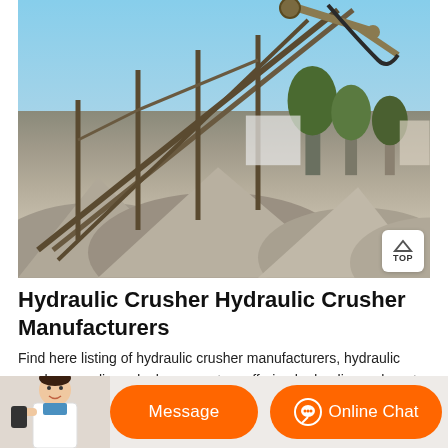[Figure (photo): Outdoor industrial crushing/screening plant with conveyor belts and steel frame structures, large piles of crushed stone/aggregate in foreground, trees and buildings in background under blue sky]
Hydraulic Crusher Hydraulic Crusher Manufacturers
Find here listing of hydraulic crusher manufacturers, hydraulic crusher suppliers, dealers exporters offering hydraulic crusher at best price. Get